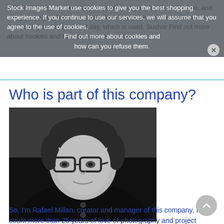With this, we guarantee that any photo that you download for free, and every photo you find in our store have many services, we will assume that you agree to the use of day, which is used. Suchar Find out more about cookies and how can you refuse them.
Stock Images Market use cookies to give you the best shopping experience. If you continue to use our services, we will assume that you agree to the use of cookies. Find out more about cookies and how can you refuse them.
Who is part of this company?
[Figure (photo): Black and white portrait photo of Rafael Millan, a man wearing glasses and dark sweater, smiling slightly]
So, I'm Rafael Millan, creator and manager of this company, I count more than 25 years of love of photography and project development, to di...